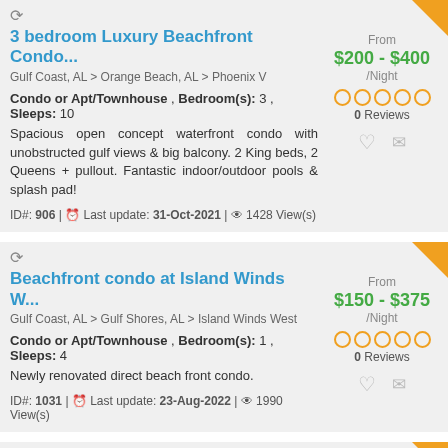3 bedroom Luxury Beachfront Condo...
Gulf Coast, AL > Orange Beach, AL > Phoenix V
Condo or Apt/Townhouse , Bedroom(s): 3 , Sleeps: 10
Spacious open concept waterfront condo with unobstructed gulf views & big balcony. 2 King beds, 2 Queens + pullout. Fantastic indoor/outdoor pools & splash pad!
ID#: 906 | Last update: 31-Oct-2021 | 1428 View(s)
From
$200 - $400
/Night
0 Reviews
Beachfront condo at Island Winds W...
Gulf Coast, AL > Gulf Shores, AL > Island Winds West
Condo or Apt/Townhouse , Bedroom(s): 1 , Sleeps: 4
Newly renovated direct beach front condo.
ID#: 1031 | Last update: 23-Aug-2022 | 1990 View(s)
From
$150 - $375
/Night
0 Reviews